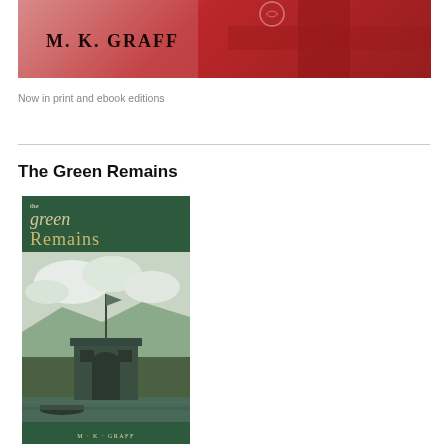[Figure (photo): Red-tinted banner image with M. K. GRAFF text, decorative cross shapes and architectural elements in crimson/deep red tones]
Now in print and ebook editions
The Green Remains
[Figure (photo): Book cover for 'the green Remains' by M.K. Graff. Green-tinted photograph showing a stone building/boathouse with an arched doorway, a mast, water, and mountains in the background. The title appears at top in cream/gold lettering.]